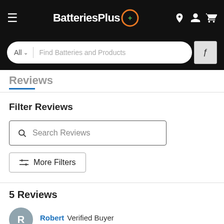BatteriesPlus
All  Find Batteries and Products
Reviews
Filter Reviews
Search Reviews
More Filters
5 Reviews
Robert Verified Buyer